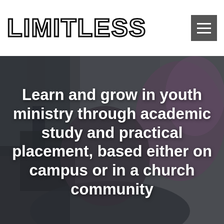LIMITLESS
[Figure (photo): A photograph showing young people from behind, one with purple/burgundy hair in a braid, sitting on a surface, with another person standing nearby in jeans and sneakers. Dark, muted color tones.]
Learn and grow in youth ministry through academic study and practical placement, based either on campus or in a church community